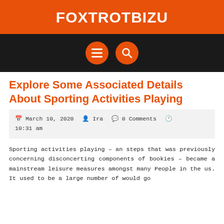FOXTROTBIZU
[Figure (screenshot): Navigation bar with dark background containing two orange circular icon buttons: a hamburger menu icon and a search/magnifying glass icon]
Explore Some Associated Details About Sporting Activities Playing
March 10, 2020  Ira  0 Comments  10:31 am
Sporting activities playing – an steps that was previously concerning disconcerting components of bookies – became a mainstream leisure measures amongst many People in the us. It used to be a large number of would go